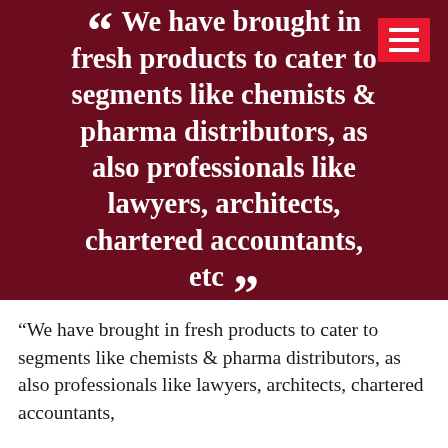“ We have brought in fresh products to cater to segments like chemists & pharma distributors, as also professionals like lawyers, architects, chartered accountants, etc ”
“We have brought in fresh products to cater to segments like chemists & pharma distributors, as also professionals like lawyers, architects, chartered accountants, etc”